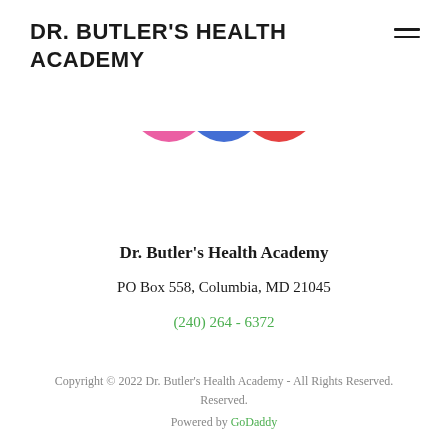DR. BUTLER'S HEALTH ACADEMY
[Figure (logo): Three bowl-shaped icons in pink, blue, and red arranged horizontally]
Dr. Butler's Health Academy
PO Box 558, Columbia, MD 21045
(240) 264 - 6372
Copyright © 2022 Dr. Butler's Health Academy - All Rights Reserved.
Powered by GoDaddy